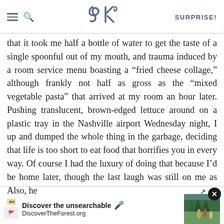SK | SURPRISE!
that it took me half a bottle of water to get the taste of a single spoonful out of my mouth, and trauma induced by a room service menu boasting a “fried cheese collage,” although frankly not half as gross as the “mixed vegetable pasta” that arrived at my room an hour later. Pushing translucent, brown-edged lettuce around on a plastic tray in the Nashville airport Wednesday night, I up and dumped the whole thing in the garbage, deciding that life is too short to eat food that horrifies you in every way. Of course I had the luxury of doing that because I’d be home later, though the last laugh was still on me as my flight was delayed and I got in at about 1:30 a.m. so tired that my husband waiting up for me with that “I’m awake! I didn’t nod off!” harried … rs. Also, he…
[Figure (screenshot): Advertisement banner for DiscoverTheForest.org with text 'Discover the unsearchable' and a photo of people in a forest, with a close button (X) in the top right corner.]